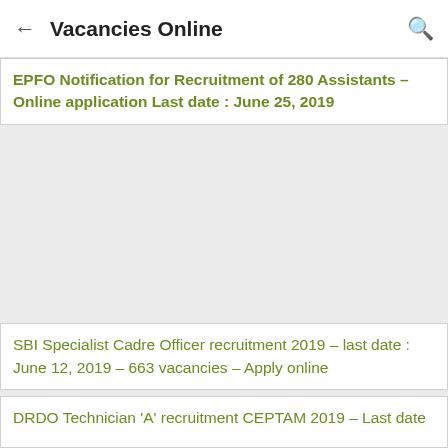Vacancies Online
EPFO Notification for Recruitment of 280 Assistants – Online application Last date : June 25, 2019
SBI Specialist Cadre Officer recruitment 2019 – last date : June 12, 2019 – 663 vacancies – Apply online
DRDO Technician 'A' recruitment CEPTAM 2019 – Last date